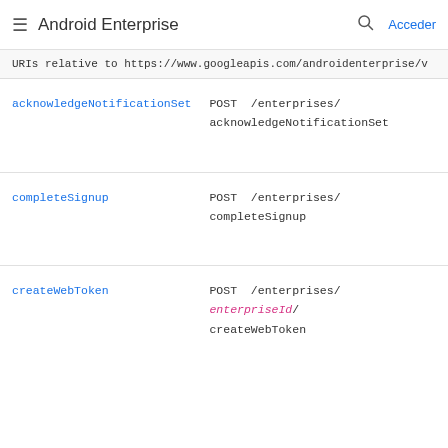Android Enterprise — Acceder
URIs relative to https://www.googleapis.com/androidenterprise/v
| Method | HTTP Request |
| --- | --- |
| acknowledgeNotificationSet | POST /enterprises/acknowledgeNotificationSet |
| completeSignup | POST /enterprises/completeSignup |
| createWebToken | POST /enterprises/{enterpriseId}/createWebToken |